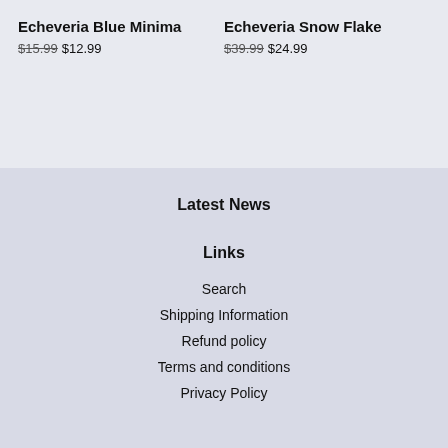Echeveria Blue Minima
$15.99 $12.99
Echeveria Snow Flake
$39.99 $24.99
Latest News
Links
Search
Shipping Information
Refund policy
Terms and conditions
Privacy Policy